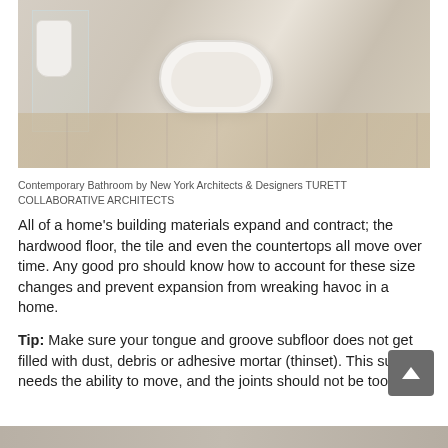[Figure (photo): Contemporary bathroom interior showing a freestanding white oval bathtub in the center, a glass shower enclosure with toilet on the left, and light wood flooring on the right. Light neutral tile walls throughout.]
Contemporary Bathroom by New York Architects & Designers TURETT COLLABORATIVE ARCHITECTS
All of a home's building materials expand and contract; the hardwood floor, the tile and even the countertops all move over time. Any good pro should know how to account for these size changes and prevent expansion from wreaking havoc in a home.
Tip: Make sure your tongue and groove subfloor does not get filled with dust, debris or adhesive mortar (thinset). This subfloor needs the ability to move, and the joints should not be too tight.